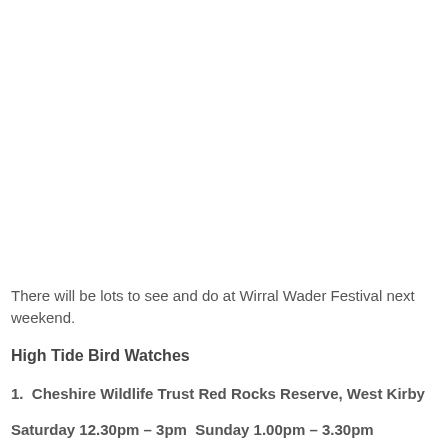There will be lots to see and do at Wirral Wader Festival next weekend.
High Tide Bird Watches
1. Cheshire Wildlife Trust Red Rocks Reserve, West Kirby
Saturday 12.30pm – 3pm  Sunday 1.00pm – 3.30pm